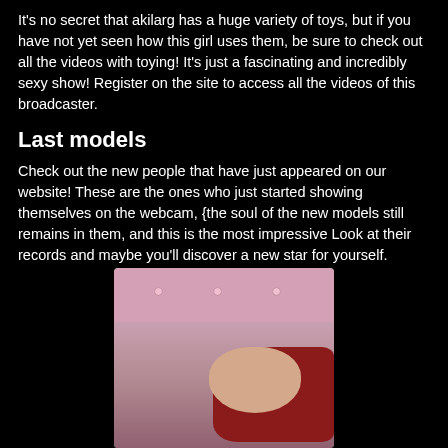It's no secret that akilarg has a huge variety of toys, but if you have not yet seen how this girl uses them, be sure to check out all the videos with toying! It's just a fascinating and incredibly sexy show! Register on the site to access all the videos of this broadcaster.
Last models
Check out the new people that have just appeared on our website! These are the ones who just started showing themselves on the webcam, {the soul of the new models still remains in them, and this is the most impressive Look at their records and maybe you'll discover a new star for yourself.
[Figure (photo): Photo of a woman with red hair against a pink tufted headboard background, holding what appears to be a stuffed toy.]